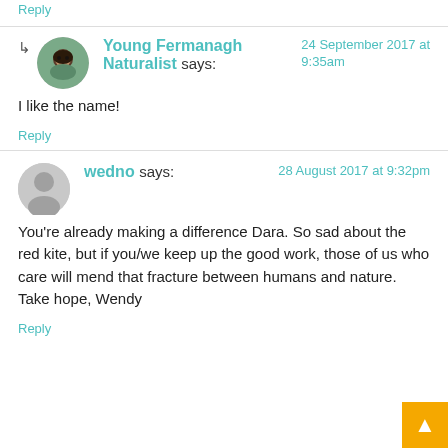Reply
Young Fermanagh Naturalist says:
24 September 2017 at 9:35am
I like the name!
Reply
wedno says:
28 August 2017 at 9:32pm
You're already making a difference Dara. So sad about the red kite, but if you/we keep up the good work, those of us who care will mend that fracture between humans and nature. Take hope, Wendy
Reply